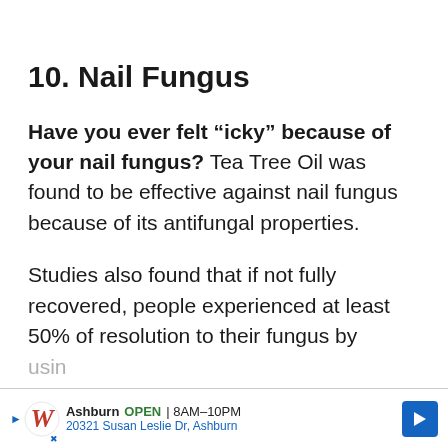10. Nail Fungus
Have you ever felt “icky” because of your nail fungus? Tea Tree Oil was found to be effective against nail fungus because of its antifungal properties.
Studies also found that if not fully recovered, people experienced at least 50% of resolution to their fungus by usin…
[Figure (infographic): Walgreens advertisement banner at the bottom of the page showing Walgreens logo, Ashburn store info: OPEN 8AM-10PM, 20321 Susan Leslie Dr, Ashburn, with a blue navigation arrow icon]